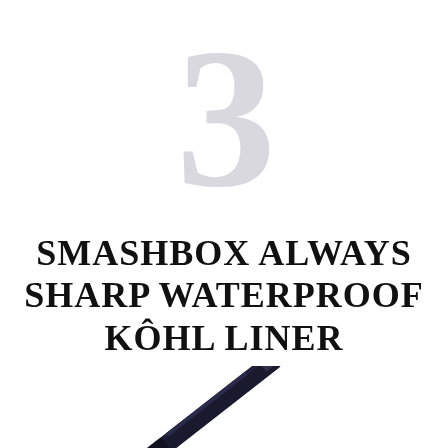3
SMASHBOX ALWAYS SHARP WATERPROOF KÔHL LINER
[Figure (photo): A dark kohl eyeliner pencil shown diagonally, with the tip exposed, on a white background]